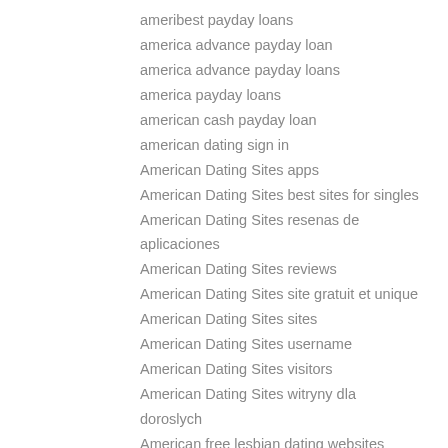ameribest payday loans
america advance payday loan
america advance payday loans
america payday loans
american cash payday loan
american dating sign in
American Dating Sites apps
American Dating Sites best sites for singles
American Dating Sites resenas de aplicaciones
American Dating Sites reviews
American Dating Sites site gratuit et unique
American Dating Sites sites
American Dating Sites username
American Dating Sites visitors
American Dating Sites witryny dla doroslych
American free lesbian dating websites
american payday loan